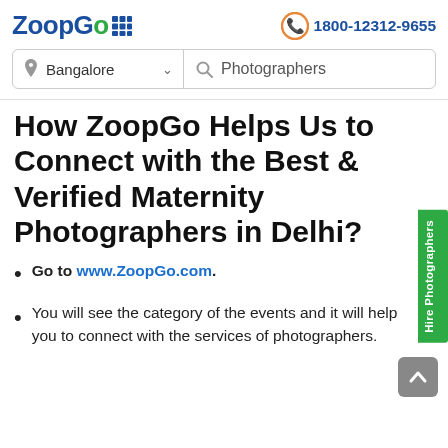ZoopGo | 1800-12312-9655
How ZoopGo Helps Us to Connect with the Best & Verified Maternity Photographers in Delhi?
Go to www.ZoopGo.com.
You will see the category of the events and it will help you to connect with the services of photographers.